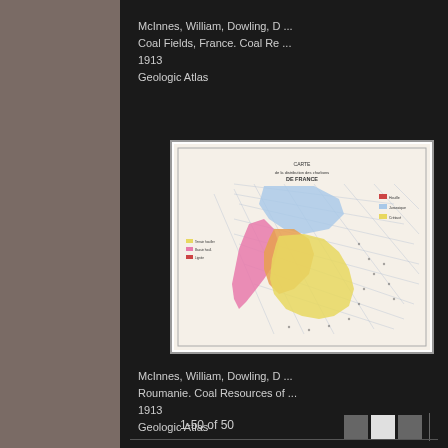McInnes, William, Dowling, D ...
Coal Fields, France. Coal Re ...
1913
Geologic Atlas
[Figure (map): Geologic map of France showing coal fields and resources with colored regions (blue, pink, yellow, orange) indicating different geological formations, with grid lines and legend.]
McInnes, William, Dowling, D ...
Roumanie. Coal Resources of ...
1913
Geologic Atlas
1-50 of 50